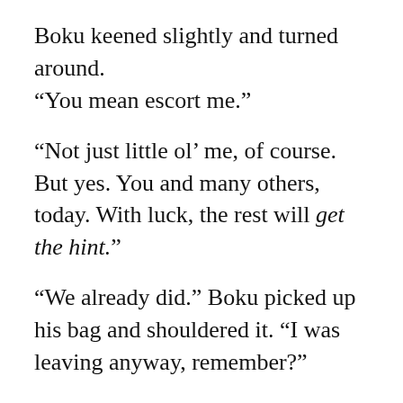Boku keened slightly and turned around. “You mean escort me.”
“Not just little ol’ me, of course. But yes. You and many others, today. With luck, the rest will get the hint.”
“We already did.” Boku picked up his bag and shouldered it. “I was leaving anyway, remember?”
“Don’t play cub-games with us. We know good and damn well it’ll be a long, drawn out thing to get all of you off-planet. This is just us being polite. We…won’t be, after today. Part of that letter. Make sure you sign it, and you can go.”